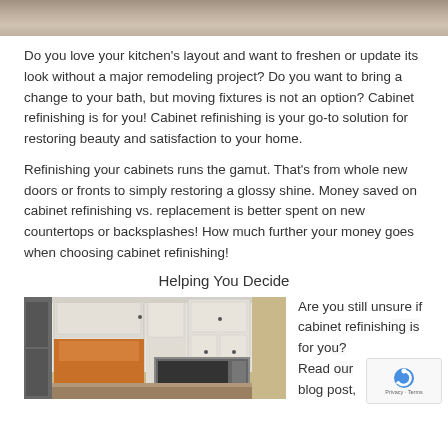[Figure (photo): Top portion of a kitchen photo cropped at the top of the page]
Do you love your kitchen’s layout and want to freshen or update its look without a major remodeling project? Do you want to bring a change to your bath, but moving fixtures is not an option? Cabinet refinishing is for you!  Cabinet refinishing is your go-to solution for restoring beauty and satisfaction to your home.
Refinishing your cabinets runs the gamut. That’s from whole new doors or fronts to simply restoring a glossy shine. Money saved on cabinet refinishing vs. replacement is better spent on new countertops or backsplashes! How much further your money goes when choosing cabinet refinishing!
Helping You Decide
[Figure (photo): Kitchen with white refinished cabinets and stainless steel microwave]
Are you still unsure if cabinet refinishing is for you? Read our blog post,